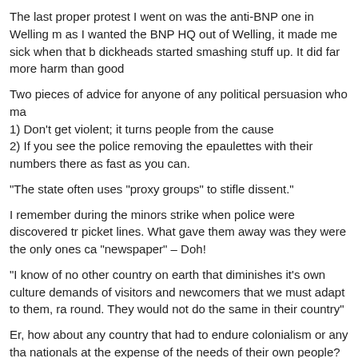The last proper protest I went on was the anti-BNP one in Welling m as I wanted the BNP HQ out of Welling, it made me sick when that b dickheads started smashing stuff up. It did far more harm than good
Two pieces of advice for anyone of any political persuasion who ma 1) Don’t get violent; it turns people from the cause 2) If you see the police removing the epaulettes with their numbers there as fast as you can.
“The state often uses “proxy groups” to stifle dissent.”
I remember during the minors strike when police were discovered tr picket lines. What gave them away was they were the only ones ca “newspaper” – Doh!
“I know of no other country on earth that diminishes it’s own culture demands of visitors and newcomers that we must adapt to them, ra round. They would not do the same in their country”
Er, how about any country that had to endure colonialism or any tha nationals at the expense of the needs of their own people? The cou Nike sweat-shops, that give essential water supplies to coke bottling food for the west while their own people go hungry?
Reply
Peter Inness (2 comments)
October 29, 2009 at 5:25 pm